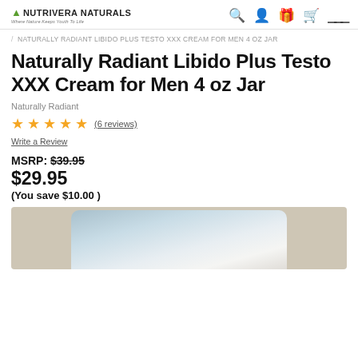NUTRIVERA NATURALS — Where Nature Keeps Youth To Life
/ NATURALLY RADIANT LIBIDO PLUS TESTO XXX CREAM FOR MEN 4 OZ JAR
Naturally Radiant Libido Plus Testo XXX Cream for Men 4 oz Jar
Naturally Radiant
★★★★★ (6 reviews) Write a Review
MSRP: $39.95
$29.95
(You save $10.00 )
[Figure (photo): Product jar image showing a cream container with a beige/tan background and silver/blue lid top visible]